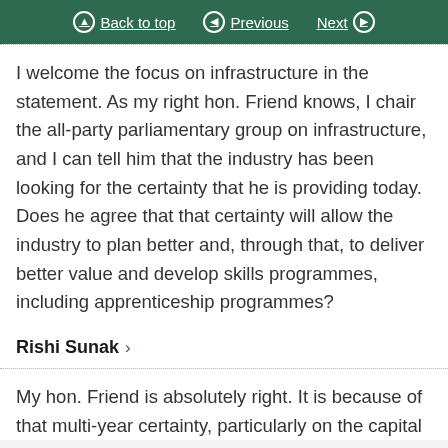Back to top   Previous   Next
I welcome the focus on infrastructure in the statement. As my right hon. Friend knows, I chair the all-party parliamentary group on infrastructure, and I can tell him that the industry has been looking for the certainty that he is providing today. Does he agree that that certainty will allow the industry to plan better and, through that, to deliver better value and develop skills programmes, including apprenticeship programmes?
Rishi Sunak
My hon. Friend is absolutely right. It is because of that multi-year certainty, particularly on the capital